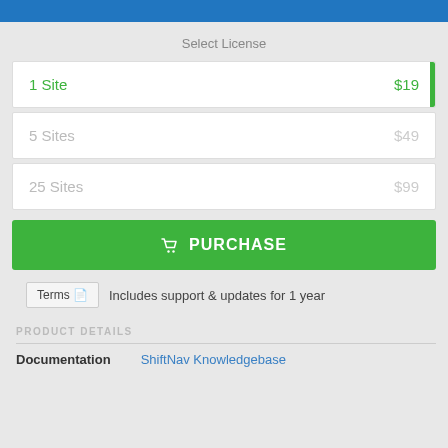Select License
1 Site  $19
5 Sites  $49
25 Sites  $99
PURCHASE
Terms  Includes support & updates for 1 year
PRODUCT DETAILS
Documentation  ShiftNav Knowledgebase